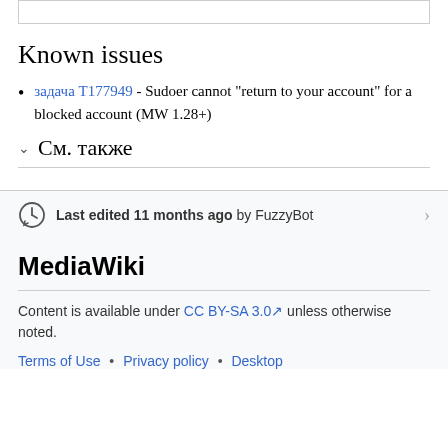Known issues
задача T177949 - Sudoer cannot "return to your account" for a blocked account (MW 1.28+)
См. также
Last edited 11 months ago by FuzzyBot
MediaWiki
Content is available under CC BY-SA 3.0 unless otherwise noted.
Terms of Use • Privacy policy • Desktop